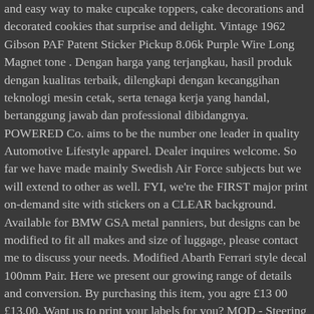and easy way to make cupcake toppers, cake decorations and decorated cookies that surprise and delight. Vintage 1962 Gibson PAF Patent Sticker Pickup 8.06k Purple Wire Long Magnet tone . Dengan harga yang terjangkau, hasil produk dengan kualitas terbaik, dilengkapi dengan kecanggihan teknologi mesin cetak, serta tenaga kerja yang handal, bertanggung jawab dan professional dibidangnya. POWERED Co. aims to be the number one leader in quality Automotive Lifestyle apparel. Dealer inquires welcome. So far we have made mainly Swedish Air Force subjects but we will extend to other as well. FYI, we're the FIRST major print on-demand site with stickers on a CLEAR background. Available for BMW GSA metal panniers, but designs can be modified to fit all makes and size of luggage, please contact me to discuss your needs. Modified Abarth Ferrari style decal 100mm Pair. Here we present our growing range of details and conversion. By purchasing this item, you agre £13 00 £13.00. Want us to print your labels for you? MOD - Steering wheel - Mc-Style GT3 Rim - For Thrustmaster T300 RS, by Acelith Design. We'll show you where to dive in. LG Commerce. £2 50 £2.50. MAESTRO memberikan berbagai kemudahan, untuk memenuhi segala kebutuhan anda dalam percetakan media promosi dan lain-lain. Pack comes with 2 stickers, available